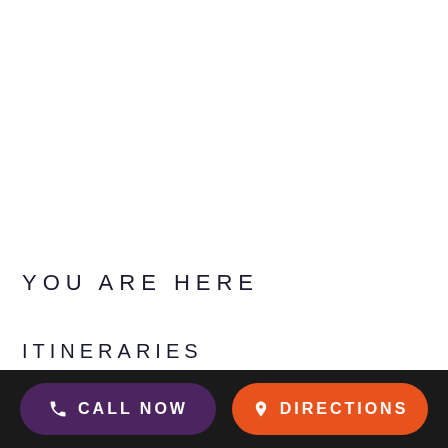YOU ARE HERE
ITINERARIES
CALL NOW   DIRECTIONS